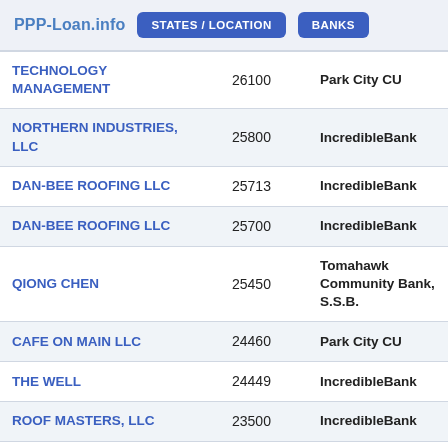PPP-Loan.info  STATES / LOCATION  BANKS
| Name | Amount | Bank |
| --- | --- | --- |
| TECHNOLOGY MANAGEMENT | 26100 | Park City CU |
| NORTHERN INDUSTRIES, LLC | 25800 | IncredibleBank |
| DAN-BEE ROOFING LLC | 25713 | IncredibleBank |
| DAN-BEE ROOFING LLC | 25700 | IncredibleBank |
| QIONG CHEN | 25450 | Tomahawk Community Bank, S.S.B. |
| CAFE ON MAIN LLC | 24460 | Park City CU |
| THE WELL | 24449 | IncredibleBank |
| ROOF MASTERS, LLC | 23500 | IncredibleBank |